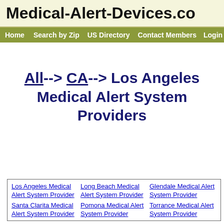Medical-Alert-Devices.co
Home  Search by Zip  US Directory  Contact Members  Login
All--> CA--> Los Angeles Medical Alert System Providers
Los Angeles Medical Alert System Provider
Long Beach Medical Alert System Provider
Glendale Medical Alert System Provider
Santa Clarita Medical Alert System Provider
Pomona Medical Alert System Provider
Torrance Medical Alert System Provider